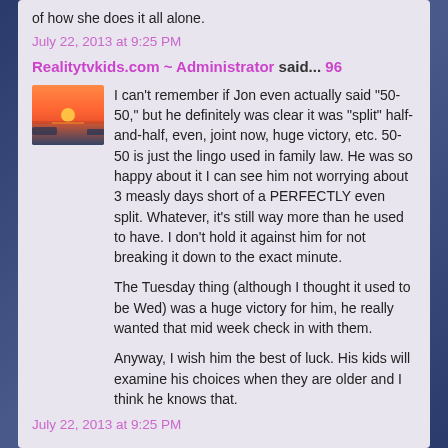of how she does it all alone.
July 22, 2013 at 9:25 PM
Realitytvkids.com ~ Administrator said... 96
I can't remember if Jon even actually said "50-50," but he definitely was clear it was "split" half-and-half, even, joint now, huge victory, etc. 50-50 is just the lingo used in family law. He was so happy about it I can see him not worrying about 3 measly days short of a PERFECTLY even split. Whatever, it's still way more than he used to have. I don't hold it against him for not breaking it down to the exact minute.

The Tuesday thing (although I thought it used to be Wed) was a huge victory for him, he really wanted that mid week check in with them.

Anyway, I wish him the best of luck. His kids will examine his choices when they are older and I think he knows that.
July 22, 2013 at 9:25 PM